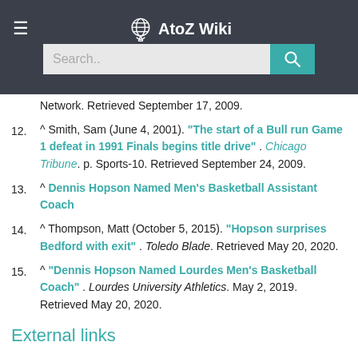AtoZ Wiki
Network. Retrieved September 17, 2009.
12. ^ Smith, Sam (June 4, 2001). "The start of a Bull run Game 1 defeat in 1991 Finals begins title drive" . Chicago Tribune. p. Sports-10. Retrieved September 24, 2009.
13. ^ Dennis Hopson Named Men's Basketball Assistant Coach
14. ^ Thompson, Matt (October 5, 2015). "Hopson surprises Bedford with exit" . Toledo Blade. Retrieved May 20, 2020.
15. ^ "Dennis Hopson Named Lourdes Men's Basketball Coach" . Lourdes University Athletics. May 2, 2019. Retrieved May 20, 2020.
External links